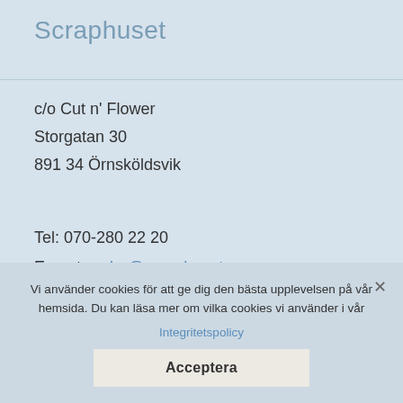Scraphuset
c/o Cut n' Flower
Storgatan 30
891 34 Örnsköldsvik
Tel: 070-280 22 20
E-post: order@scraphuset.se
Öppettider
Vi använder cookies för att ge dig den bästa upplevelsen på vår hemsida. Du kan läsa mer om vilka cookies vi använder i vår Integritetspolicy
Acceptera